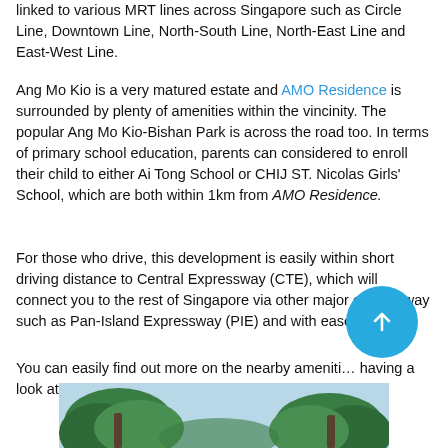linked to various MRT lines across Singapore such as Circle Line, Downtown Line, North-South Line, North-East Line and East-West Line.
Ang Mo Kio is a very matured estate and AMO Residence is surrounded by plenty of amenities within the vincinity. The popular Ang Mo Kio-Bishan Park is across the road too. In terms of primary school education, parents can considered to enroll their child to either Ai Tong School or CHIJ ST. Nicolas Girls' School, which are both within 1km from AMO Residence.
For those who drive, this development is easily within short driving distance to Central Expressway (CTE), which will connect you to the rest of Singapore via other major expressway such as Pan-Island Expressway (PIE) and with ease.
You can easily find out more on the nearby amenities by having a look at our AMO Residence location map.
[Figure (photo): Bottom portion of a photo showing palm trees and blue sky, partially visible at the bottom of the page.]